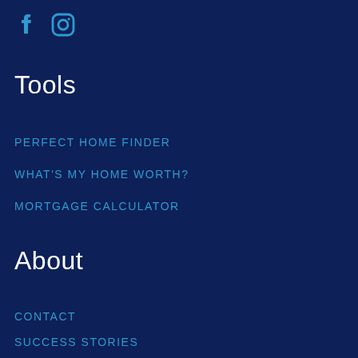[Figure (logo): Facebook and Instagram social media icons in blue on dark navy background]
Tools
PERFECT HOME FINDER
WHAT'S MY HOME WORTH?
MORTGAGE CALCULATOR
About
CONTACT
SUCCESS STORIES
MEET THE TEAM